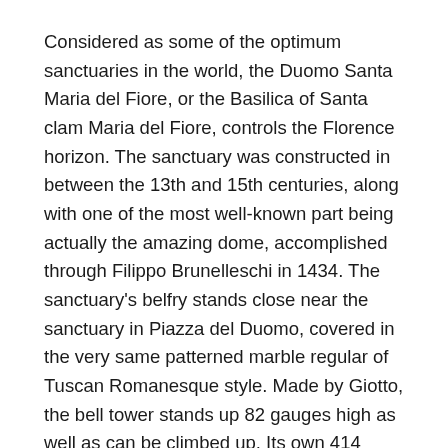Considered as some of the optimum sanctuaries in the world, the Duomo Santa Maria del Fiore, or the Basilica of Santa clam Maria del Fiore, controls the Florence horizon. The sanctuary was constructed in between the 13th and 15th centuries, along with one of the most well-known part being actually the amazing dome, accomplished through Filippo Brunelleschi in 1434. The sanctuary's belfry stands close near the sanctuary in Piazza del Duomo, covered in the very same patterned marble regular of Tuscan Romanesque style. Made by Giotto, the bell tower stands up 82 gauges high as well as can be climbed up. Its own 414 measures preceding a checking out system with wonderful scenery of the city. Contrary the Duomo is actually an impressive baptistery, famed for its own bronze paneled doors.
It is actually difficult to discover a place along with a richer history than Italy. Having its place at the exact center from